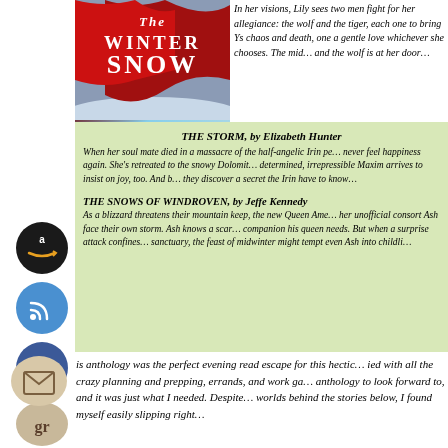[Figure (illustration): Book cover for 'The Winter Snow' anthology showing a red flag/banner over a snowy blue background]
In her visions, Lily sees two men fight for her allegiance: the wolf and the tiger, each one to bring Ys chaos and death, one a gentle love whichever she chooses. The mid... and the wolf is at her door…
THE STORM, by Elizabeth Hunter
When her soul mate died in a massacre of the half-angelic Irin pe... never feel happiness again. She's retreated to the snowy Dolomit... determined, irrepressible Maxim arrives to insist on joy, too. And b... they discover a secret the Irin have to know…
THE SNOWS OF WINDROVEN, by Jeffe Kennedy
As a blizzard threatens their mountain keep, the new Queen Ame... her unofficial consort Ash face their own storm. Ash knows a scar... companion his queen needs. But when a surprise attack confines... sanctuary, the feast of midwinter might tempt even Ash into childli...
[Figure (logo): Amazon icon - black circle with Amazon smile logo]
[Figure (logo): RSS feed icon - blue circle with RSS symbol]
[Figure (logo): Facebook icon - blue circle with f logo]
[Figure (logo): Goodreads icon - beige circle with gr text]
[Figure (logo): Email/envelope icon - beige circle with envelope]
is anthology was the perfect evening read escape for this hectic... ied with all the crazy planning and prepping, errands, and work ga... anthology to look forward to, and it was just what I needed. Despite... worlds behind the stories below, I found myself easily slipping right...